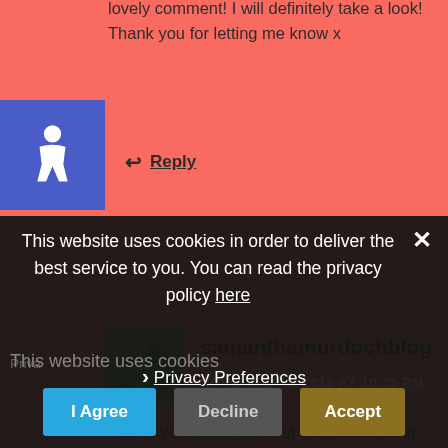lovely comment! I will definitely take a look! Thank you for letting me know x
Reply
[Figure (illustration): Blue accessibility/wheelchair icon on blue background square]
[Figure (photo): Small green fern leaf avatar image]
samanthamurdochblog
NOVEMBER 8, 2016 AT 10:25 PM
Thank you-enjoy the rest of your evening :)x
This website uses cookies in order to deliver the best service to you. You can read the privacy policy here
Privacy Preferences
This website uses cookies
I Agree  Decline  Accept